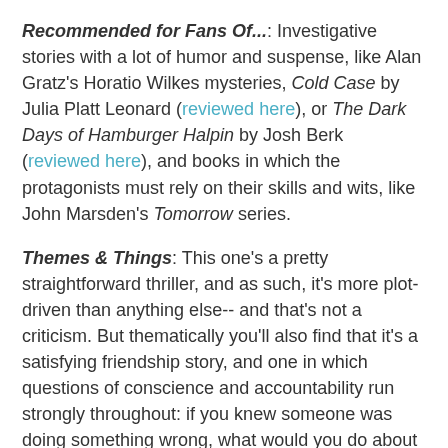Recommended for Fans Of...: Investigative stories with a lot of humor and suspense, like Alan Gratz's Horatio Wilkes mysteries, Cold Case by Julia Platt Leonard (reviewed here), or The Dark Days of Hamburger Halpin by Josh Berk (reviewed here), and books in which the protagonists must rely on their skills and wits, like John Marsden's Tomorrow series.
Themes & Things: This one's a pretty straightforward thriller, and as such, it's more plot-driven than anything else--and that's not a criticism. But thematically you'll also find that it's a satisfying friendship story, and one in which questions of conscience and accountability run strongly throughout: if you knew someone was doing something wrong, what would you do about it? Is it okay to do something illegal if it means saving the world--do the ends justify the means? Would you put your own life in danger, or those of your friends, on the slim chance of saving everything that you hold dear?
You can find The Project by Brian Falkner at an independent bookstore near you!